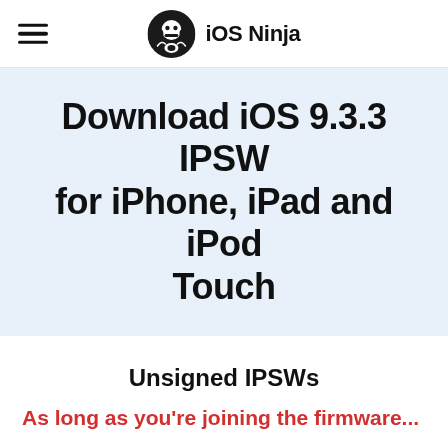iOS Ninja
Download iOS 9.3.3 IPSW for iPhone, iPad and iPod Touch
Unsigned IPSWs
As long as you're joining the firmware...